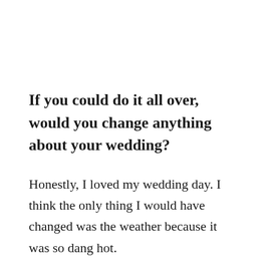If you could do it all over, would you change anything about your wedding?
Honestly, I loved my wedding day. I think the only thing I would have changed was the weather because it was so dang hot.